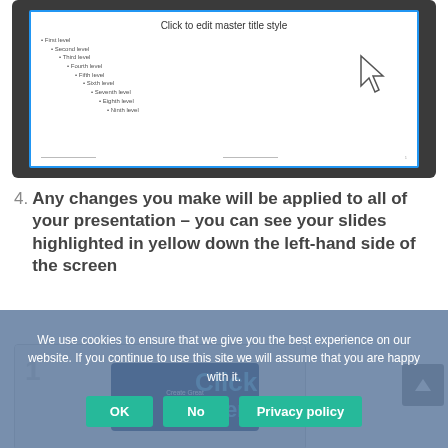[Figure (screenshot): Screenshot of a PowerPoint slide master view showing 'Click to edit master title style' with indented bullet levels from First level through Ninth level, with a mouse cursor icon visible]
4. Any changes you make will be applied to all of your presentation – you can see your slides highlighted in yellow down the left-hand side of the screen
[Figure (screenshot): Screenshot showing a presentation editing interface with slide thumbnails and a 'Click Here' overlay, partially visible at bottom of page]
We use cookies to ensure that we give you the best experience on our website. If you continue to use this site we will assume that you are happy with it.